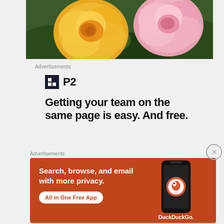[Figure (photo): Photo of two roses — one yellow-orange and one pink — with green leaves in the background]
Advertisements
[Figure (logo): P2 logo with dark square grid icon followed by 'P2' text]
Getting your team on the same page is easy. And free.
Advertisements
[Figure (screenshot): DuckDuckGo advertisement on orange background: 'Search, browse, and email with more privacy. All in One Free App' with phone showing DuckDuckGo logo]